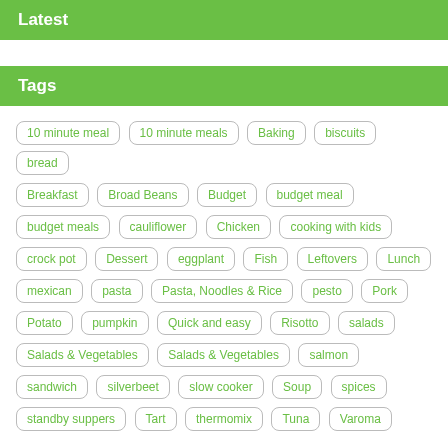Latest
Tags
10 minute meal
10 minute meals
Baking
biscuits
bread
Breakfast
Broad Beans
Budget
budget meal
budget meals
cauliflower
Chicken
cooking with kids
crock pot
Dessert
eggplant
Fish
Leftovers
Lunch
mexican
pasta
Pasta, Noodles & Rice
pesto
Pork
Potato
pumpkin
Quick and easy
Risotto
salads
Salads & Vegetables
Salads & Vegetables
salmon
sandwich
silverbeet
slow cooker
Soup
spices
standby suppers
Tart
thermomix
Tuna
Varoma